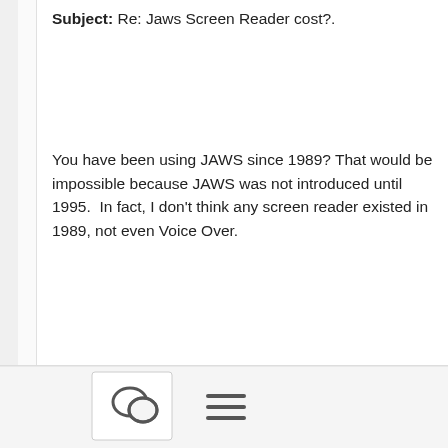Subject: Re: Jaws Screen Reader cost?.
You have been using JAWS since 1989? That would be impossible because JAWS was not introduced until 1995.  In fact, I don't think any screen reader existed in 1989, not even Voice Over.
Gerald
On 11/2/2021 12:36 PM, Sieghard Weitzel wrote:
Steve, as a 54-year old very active technology user who has been using
[Figure (screenshot): Bottom navigation bar with a chat/comment icon button and a hamburger menu icon]